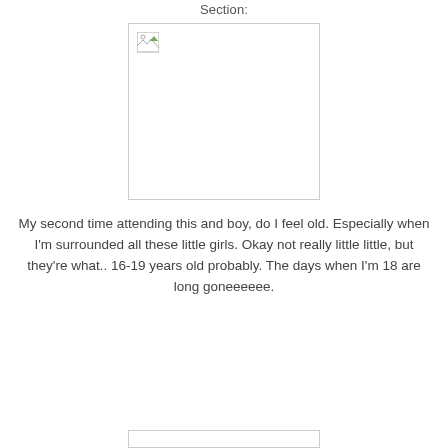Section:
[Figure (photo): Broken/missing image placeholder with border]
My second time attending this and boy, do I feel old. Especially when I'm surrounded all these little girls. Okay not really little little, but they're what.. 16-19 years old probably. The days when I'm 18 are long goneeeeee.